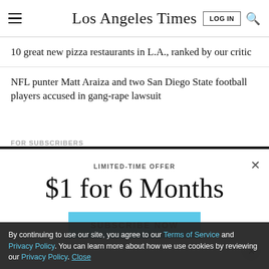Los Angeles Times
10 great new pizza restaurants in L.A., ranked by our critic
NFL punter Matt Araiza and two San Diego State football players accused in gang-rape lawsuit
LIMITED-TIME OFFER
$1 for 6 Months
SUBSCRIBE NOW
Season 5 of The Times' go-to podcast is here
By continuing to use our site, you agree to our Terms of Service and Privacy Policy. You can learn more about how we use cookies by reviewing our Privacy Policy. Close